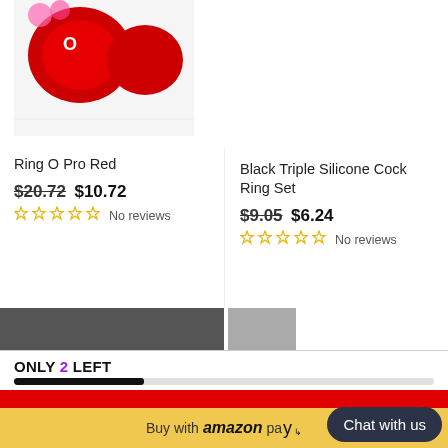[Figure (photo): Partial top portion of product image for Ring O Pro Red — red product on white background, cropped at top]
[Figure (photo): Partial top portion of product image for Black Triple Silicone Cock Ring Set — small dark image thumbnail visible]
Ring O Pro Red
$20.72 $10.72
No reviews
Black Triple Silicone Cock Ring Set
$9.05 $6.24
No reviews
ONLY 2 LEFT
ADD TO CART
Buy with amazon pay
Chat with us